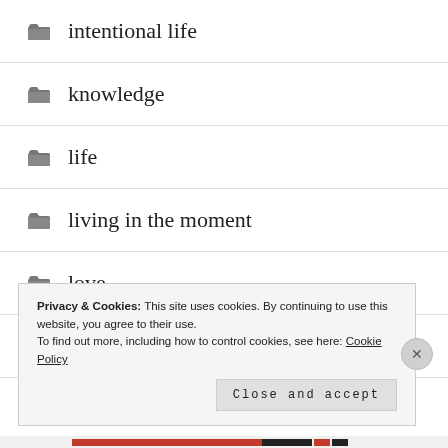intentional life
knowledge
life
living in the moment
love
new beginning
Privacy & Cookies: This site uses cookies. By continuing to use this website, you agree to their use.
To find out more, including how to control cookies, see here: Cookie Policy
Close and accept